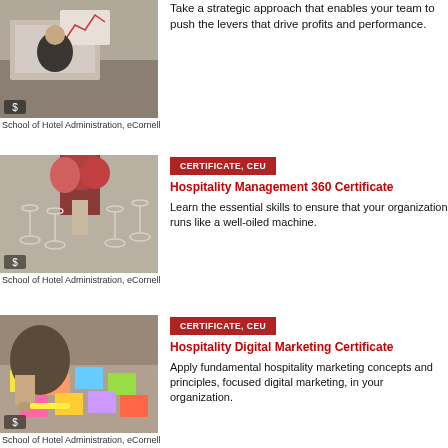[Figure (photo): Person working at desk with financial charts in background]
Take a strategic approach that enables your team to push the levers that drive profits and performance.
School of Hotel Administration, eCornell
[Figure (photo): Elegant table setting with wine glasses and floral arrangement]
CERTIFICATE, CEU
Hospitality Management 360 Certificate
Learn the essential skills to ensure that your organization runs like a well-oiled machine.
School of Hotel Administration, eCornell
[Figure (photo): People working on marketing materials with colorful sticky notes]
CERTIFICATE, CEU
Hospitality Digital Marketing Certificate
Apply fundamental hospitality marketing concepts and principles, focused digital marketing, in your organization.
School of Hotel Administration, eCornell